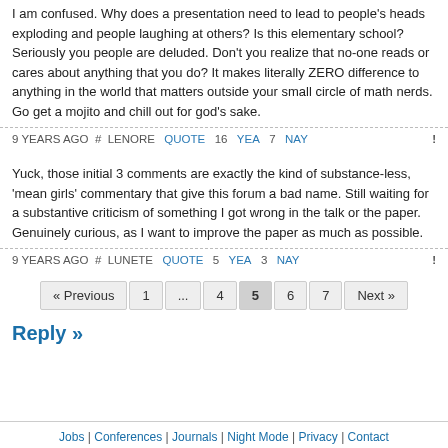I am confused. Why does a presentation need to lead to people's heads exploding and people laughing at others? Is this elementary school? Seriously you people are deluded. Don't you realize that no-one reads or cares about anything that you do? It makes literally ZERO difference to anything in the world that matters outside your small circle of math nerds. Go get a mojito and chill out for god's sake.
9 YEARS AGO # LENORE QUOTE 16 YEA 7 NAY !
Yuck, those initial 3 comments are exactly the kind of substance-less, 'mean girls' commentary that give this forum a bad name. Still waiting for a substantive criticism of something I got wrong in the talk or the paper. Genuinely curious, as I want to improve the paper as much as possible.
9 YEARS AGO # LUNETE QUOTE 5 YEA 3 NAY !
« Previous 1 ... 4 5 6 7 Next »
Reply »
Jobs | Conferences | Journals | Night Mode | Privacy | Contact